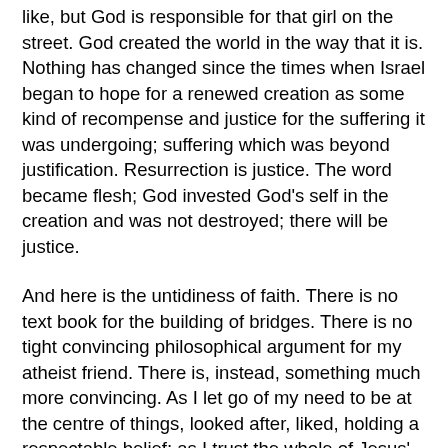like, but God is responsible for that girl on the street. God created the world in the way that it is. Nothing has changed since the times when Israel began to hope for a renewed creation as some kind of recompense and justice for the suffering it was undergoing; suffering which was beyond justification. Resurrection is justice. The word became flesh; God invested God's self in the creation and was not destroyed; there will be justice.
And here is the untidiness of faith. There is no text book for the building of bridges. There is no tight convincing philosophical argument for my atheist friend. There is, instead, something much more convincing. As I let go of my need to be at the centre of things, looked after, liked, holding a respectable belief; as I trust the whole of Jesus' message in Luke and the other gospels, and seek